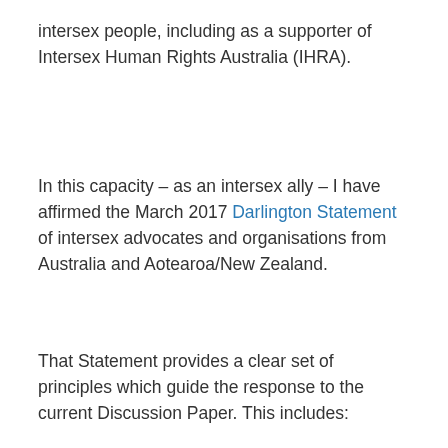intersex people, including as a supporter of Intersex Human Rights Australia (IHRA).
In this capacity – as an intersex ally – I have affirmed the March 2017 Darlington Statement of intersex advocates and organisations from Australia and Aotearoa/New Zealand.
That Statement provides a clear set of principles which guide the response to the current Discussion Paper. This includes:
Article 5: Commission will have an important role in...